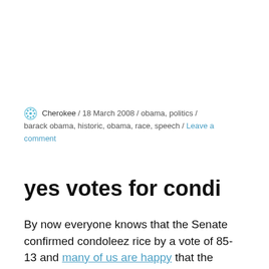Cherokee / 18 March 2008 / obama, politics / barack obama, historic, obama, race, speech / Leave a comment
yes votes for condi
By now everyone knows that the Senate confirmed condoleez rice by a vote of 85-13 and many of us are happy that the Democrats are beginning to show evidence of some